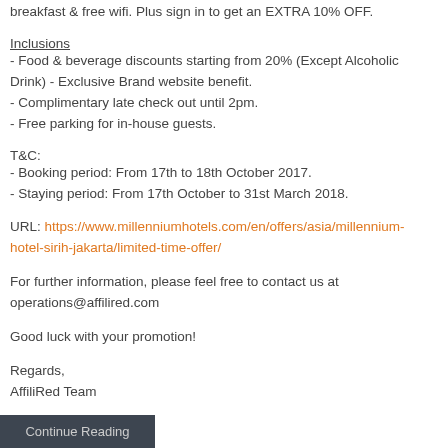breakfast & free wifi. Plus sign in to get an EXTRA 10% OFF.
Inclusions
- Food & beverage discounts starting from 20% (Except Alcoholic Drink) - Exclusive Brand website benefit.
- Complimentary late check out until 2pm.
- Free parking for in-house guests.
T&C:
- Booking period: From 17th to 18th October 2017.
- Staying period: From 17th October to 31st March 2018.
URL: https://www.millenniumhotels.com/en/offers/asia/millennium-hotel-sirih-jakarta/limited-time-offer/
For further information, please feel free to contact us at operations@affilired.com
Good luck with your promotion!
Regards,
AffiliRed Team
Continue Reading